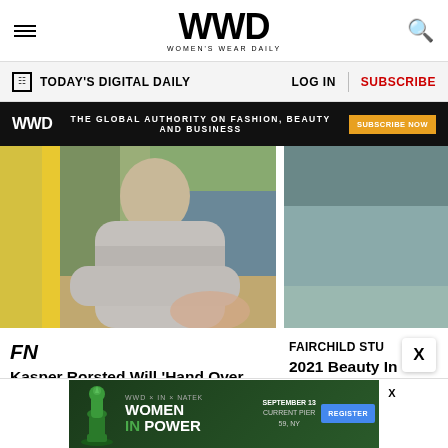WWD — Women's Wear Daily
TODAY'S DIGITAL DAILY | LOG IN | SUBSCRIBE
[Figure (infographic): WWD advertisement banner: dark background with WWD logo on left, 'THE GLOBAL AUTHORITY ON FASHION, BEAUTY AND BUSINESS' text in center, 'SUBSCRIBE NOW' orange button on right]
[Figure (photo): Left article image: man in grey hoodie sitting outdoors with yellow background elements, trees visible. Right article image: partial view of blue-grey abstract surface.]
FN
Kasper Rorsted Will 'Hand Over the CEO Position' at Adidas in 2023
3 HRS AGO
FAIRCHILD STU
2021 Beauty In Virtual Wellnes
2 YEARS AGO
[Figure (infographic): Bottom advertisement: dark green background with chess queen piece graphic, WWD x IN x logos text, 'WOMEN IN POWER' heading, 'SEPTEMBER 13 CURRENT PIER 59, NY' details, and 'REGISTER' blue button]